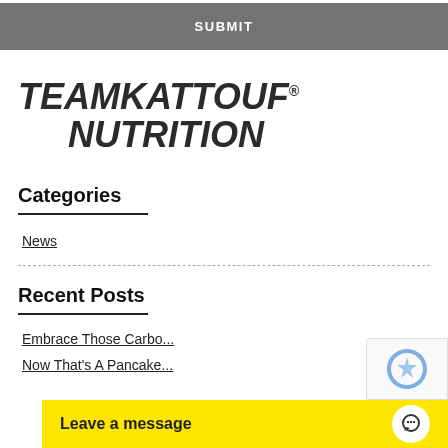SUBMIT
[Figure (logo): TEAMKATTOUF® NUTRITION logo in bold italic dark text]
Categories
News
Recent Posts
Embrace Those Carbo...
Now That's A Pancake...
Leave a message